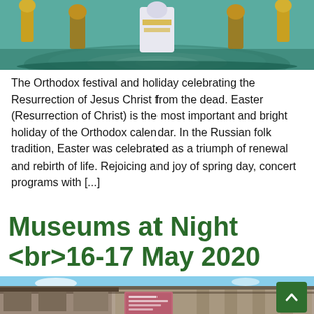[Figure (photo): Orthodox ceremony photo showing clergy in ceremonial vestments on a decorative mosaic floor with gold and teal colors]
The Orthodox festival and holiday celebrating the Resurrection of Jesus Christ from the dead. Easter (Resurrection of Christ) is the most important and bright holiday of the Orthodox calendar. In the Russian folk tradition, Easter was celebrated as a triumph of renewal and rebirth of life. Rejoicing and joy of spring day, concert programs with […]
Museums at Night <br>16-17 May 2020
[Figure (photo): Exterior photo of a museum building with concrete/stone facade, metal railings, a pink exhibition poster on the wall, and blue sky background]